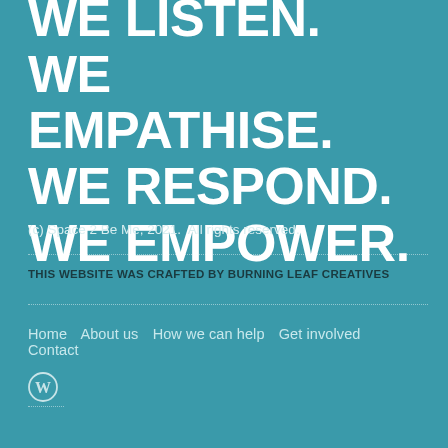WE LISTEN.
WE EMPATHISE.
WE RESPOND.
WE EMPOWER.
(c) Space 2 Be Me, 2021.  All rights reserved.
THIS WEBSITE WAS CRAFTED BY BURNING LEAF CREATIVES
Home   About us   How we can help   Get involved   Contact
[Figure (logo): WordPress logo icon (circle with W)]